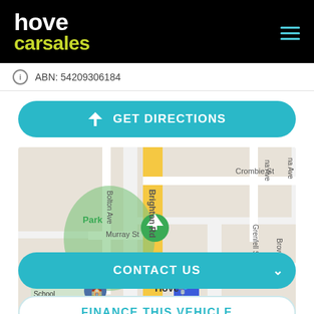hove carsales
ABN: 54209306184
[Figure (other): GET DIRECTIONS button with arrow icon, teal rounded rectangle]
[Figure (map): Street map showing Brighton Rd area with streets: Crombie St, Murray St, Caroona Ave, Grenfell St, Brown St, Bolton Ave, and a park with McAuley School. Hove train station marker visible.]
[Figure (other): CONTACT US button, teal rounded rectangle with chevron]
[Figure (other): FINANCE THIS VEHICLE button, white rounded rectangle with teal text]